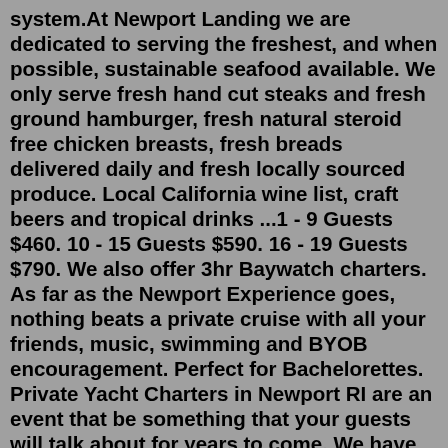system.At Newport Landing we are dedicated to serving the freshest, and when possible, sustainable seafood available. We only serve fresh hand cut steaks and fresh ground hamburger, fresh natural steroid free chicken breasts, fresh breads delivered daily and fresh locally sourced produce. Local California wine list, craft beers and tropical drinks ...1 - 9 Guests $460. 10 - 15 Guests $590. 16 - 19 Guests $790. We also offer 3hr Baywatch charters. As far as the Newport Experience goes, nothing beats a private cruise with all your friends, music, swimming and BYOB encouragement. Perfect for Bachelorettes. Private Yacht Charters in Newport RI are an event that be something that your guests will talk about for years to come. We have the beautiful 80 foot Schooner Adirondack II and our 48 foot Sloop Eleanor. These sailing boats are a great way to get the company, friends and family out to relax and enjoy each other.. DismissBaywatch Rhode Island Mrne Towing & Rsc. Website (401) 398-0388. 665 Benefit St. Pawtucket, RI 02861. 2. Baywatch Inc. Website (617) 699-0429. 584...